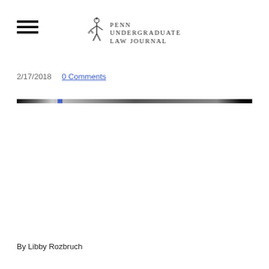Penn Undergraduate Law Journal
2/17/2018   0 Comments
[Figure (other): Horizontal decorative divider bar with gradient effect and a small blue accent near the left side]
By Libby Rozbruch